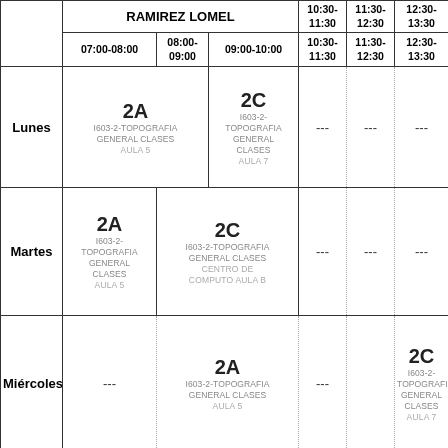|  | 07:00-08:00 | 08:00-09:00 | 09:00-10:00 | 10:30-11:30 | 11:30-12:30 | 12:30-13:30 |
| --- | --- | --- | --- | --- | --- | --- |
|  | RAMIREZ LOMEL |  |  |  |  |  |
| Lunes | 2A I603-2-TOPOGRAFIA GENERAL CLASES AULA 5 |  | 2C I603-2-TOPOGRAFIA GENERAL CLASES AULA 7 | --- | --- | --- |
| Martes | 2A I603-2-TOPOGRAFIA GENERAL CLASES AULA 5 |  | 2C I603-2-TOPOGRAFIA GENERAL CLASES CENTRO DE COMPUTO AULA B | --- | --- | --- |
| Miércoles | --- |  | 2A I603-2-TOPOGRAFIA GENERAL CLASES AULA 5 | --- |  | 2C I603-2-TOPOGRAFIA GENERAL CLASES AULA 7 |